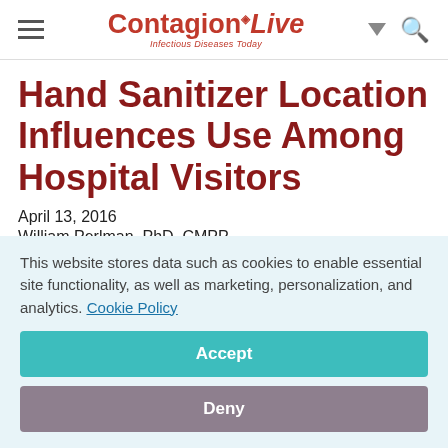ContagionLive — Infectious Diseases Today
Hand Sanitizer Location Influences Use Among Hospital Visitors
April 13, 2016
William Perlman, PhD, CMPP
[Figure (other): Social sharing icons: Facebook, Twitter, LinkedIn, Pinterest, Email]
This website stores data such as cookies to enable essential site functionality, as well as marketing, personalization, and analytics. Cookie Policy
Accept
Deny